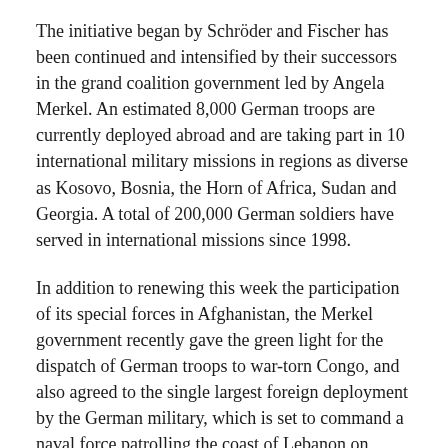The initiative began by Schröder and Fischer has been continued and intensified by their successors in the grand coalition government led by Angela Merkel. An estimated 8,000 German troops are currently deployed abroad and are taking part in 10 international military missions in regions as diverse as Kosovo, Bosnia, the Horn of Africa, Sudan and Georgia. A total of 200,000 German soldiers have served in international missions since 1998.
In addition to renewing this week the participation of its special forces in Afghanistan, the Merkel government recently gave the green light for the dispatch of German troops to war-torn Congo, and also agreed to the single largest foreign deployment by the German military, which is set to command a naval force patrolling the coast of Lebanon on behalf of the European Union military force in the region. The increasingly aggressive foreign policy of the German government since the early 1990s has thus far